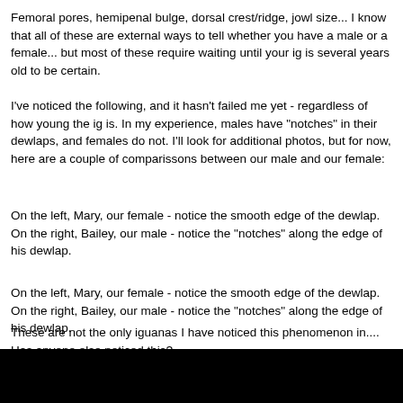Femoral pores, hemipenal bulge, dorsal crest/ridge, jowl size... I know that all of these are external ways to tell whether you have a male or a female... but most of these require waiting until your ig is several years old to be certain.
I've noticed the following, and it hasn't failed me yet - regardless of how young the ig is. In my experience, males have "notches" in their dewlaps, and females do not. I'll look for additional photos, but for now, here are a couple of comparissons between our male and our female:
On the left, Mary, our female - notice the smooth edge of the dewlap. On the right, Bailey, our male - notice the "notches" along the edge of his dewlap.
On the left, Mary, our female - notice the smooth edge of the dewlap. On the right, Bailey, our male - notice the "notches" along the edge of his dewlap.
These are not the only iguanas I have noticed this phenomenon in.... Has anyone else noticed this?
--Roc